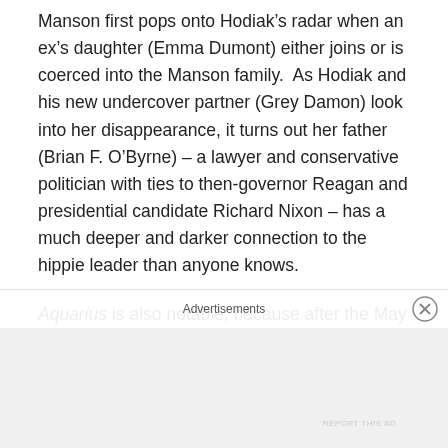Manson first pops onto Hodiak’s radar when an ex’s daughter (Emma Dumont) either joins or is coerced into the Manson family.  As Hodiak and his new undercover partner (Grey Damon) look into her disappearance, it turns out her father (Brian F. O’Byrne) – a lawyer and conservative politician with ties to then-governor Reagan and presidential candidate Richard Nixon – has a much deeper and darker connection to the hippie leader than anyone knows.
Aquarius is also notable, because after the May 28th premiere, it is the first network series in which all thirteen episodes will be dropped at once, available to binge-watch immediately if you are not willing to wait around to watch
Advertisements